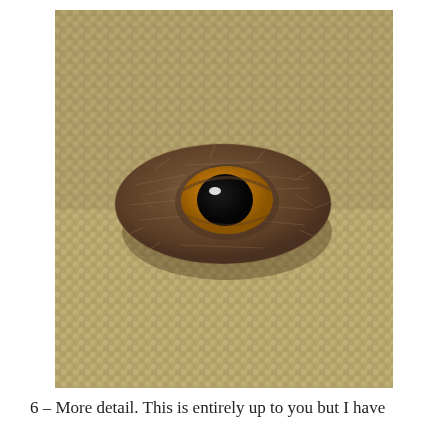[Figure (photo): A close-up photograph of a needle-felted wool object resembling an eye or small creature's head. The brown felted wool blob sits on a burlap/hessian fabric background. The piece features a yellow-amber iris with a large black pupil and a small white highlight, giving it a realistic eye appearance. The wool fibers are visible across the surface.]
6 – More detail. This is entirely up to you but I have